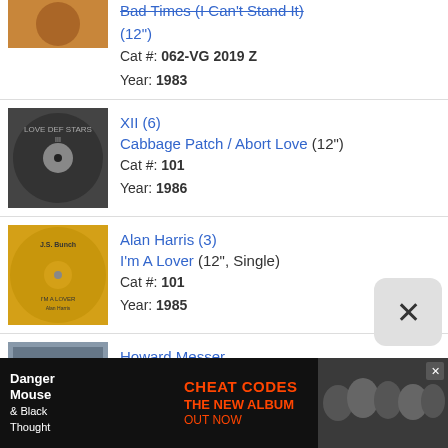Bad Times (I Can't Stand It) (12") Cat #: 062-VG 2019 Z Year: 1983
XII (6) Cabbage Patch / Abort Love (12") Cat #: 101 Year: 1986
Alan Harris (3) I'm A Lover (12", Single) Cat #: 101 Year: 1985
Howard Messer No Fault Love (LP, Album) Cat #: 00123 Year: 1977
J.C. Mark Circus Of Love (CD, Album) Cat #: 0325-CD
[Figure (infographic): Advertisement banner for Danger Mouse & Black Thought 'Cheat Codes - The New Album Out Now']